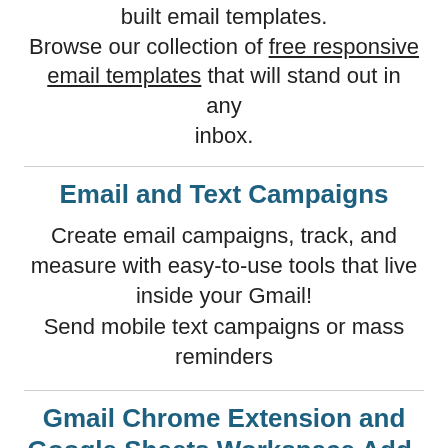built email templates. Browse our collection of free responsive email templates that will stand out in any inbox.
Email and Text Campaigns
Create email campaigns, track, and measure with easy-to-use tools that live inside your Gmail! Send mobile text campaigns or mass reminders
Gmail Chrome Extension and Google Sheets Workspace Add-On